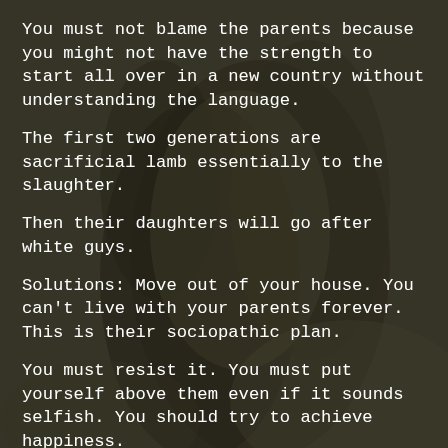You must not blame the parents because you might not have the strength to start all over in a new country without understanding the language.
The first two generations are sacrificial lamb essentially to the slaughter.
Then their daughters will go after white guys.
Solutions: Move out of your house. You can’t live with your parents forever. This is their sociopathic plan.
You must resist it. You must put yourself above them even if it sounds selfish. You should try to achieve happiness.